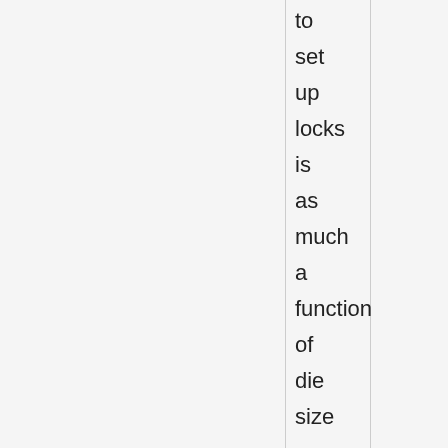to set up locks is as much a function of die size as clock rate: